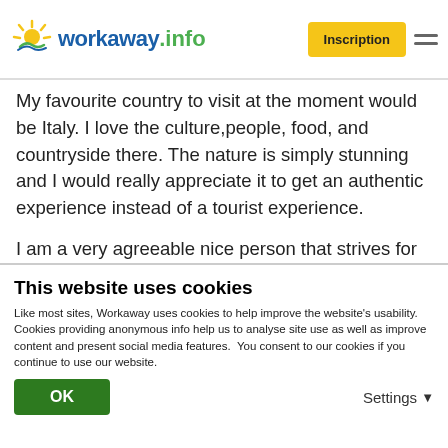workaway.info — Inscription
My favourite country to visit at the moment would be Italy. I love the culture,people, food, and countryside there. The nature is simply stunning and I would really appreciate it to get an authentic experience instead of a tourist experience.

I am a very agreeable nice person that strives for harmony and all the good things in life. Please ask me if you are interested in knowing more about
This website uses cookies
Like most sites, Workaway uses cookies to help improve the website's usability. Cookies providing anonymous info help us to analyse site use as well as improve content and present social media features.  You consent to our cookies if you continue to use our website.
OK    Settings